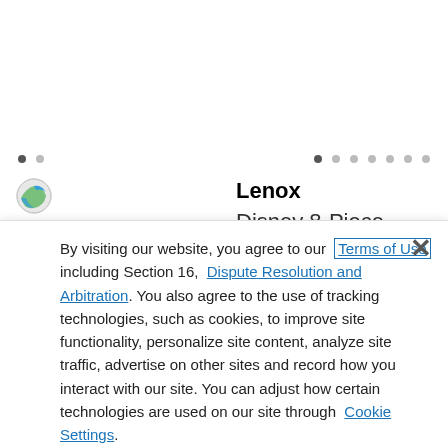[Figure (screenshot): White empty top area of a product page]
[Figure (infographic): Dot navigation indicators: two sets of carousel dots, first set has one active dot, second set has one active dot among six]
[Figure (illustration): Circular globe/earth color swatch icon]
Color
Swatch
Lenox
Profile Navy Blue Accent
Lenox
Disney 8-Piece Luna Nesting Set
By visiting our website, you agree to our Terms of Use including Section 16, Dispute Resolution and Arbitration. You also agree to the use of tracking technologies, such as cookies, to improve site functionality, personalize site content, analyze site traffic, advertise on other sites and record how you interact with our site. You can adjust how certain technologies are used on our site through Cookie Settings.